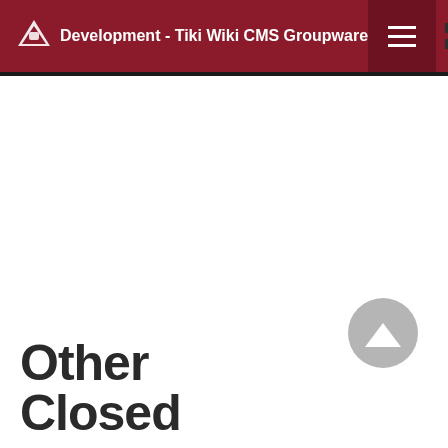Development - Tiki Wiki CMS Groupware
Other Closed